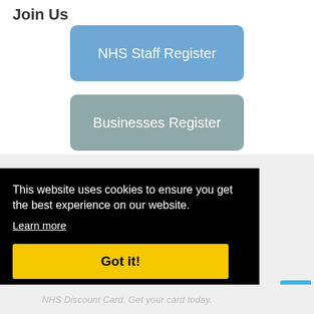Join Us
NHS Staff Register
Businesses Register
This website uses cookies to ensure you get the best experience on our website.
Learn more
Got it!
NHS Discount Card. Get your card today.